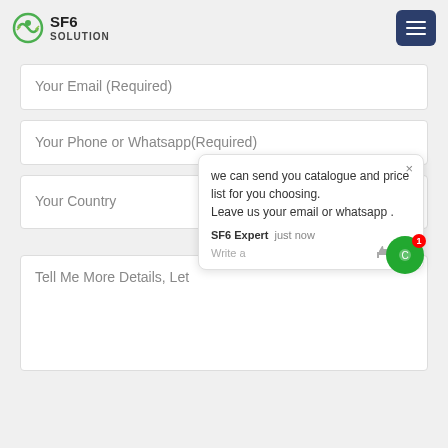SF6 SOLUTION
Your Email (Required)
Your Phone or Whatsapp(Required)
Your Country
we can send you catalogue and price list for you choosing. Leave us your email or whatsapp . SF6 Expert just now Write a
Tell Me More Details, Let